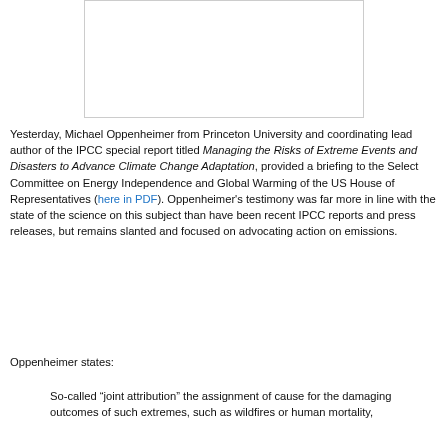[Figure (other): Blank white image box with light gray border]
Yesterday, Michael Oppenheimer from Princeton University and coordinating lead author of the IPCC special report titled Managing the Risks of Extreme Events and Disasters to Advance Climate Change Adaptation, provided a briefing to the Select Committee on Energy Independence and Global Warming of the US House of Representatives (here in PDF). Oppenheimer's testimony was far more in line with the state of the science on this subject than have been recent IPCC reports and press releases, but remains slanted and focused on advocating action on emissions.
Oppenheimer states:
So-called “joint attribution” the assignment of cause for the damaging outcomes of such extremes, such as wildfires or human mortality,